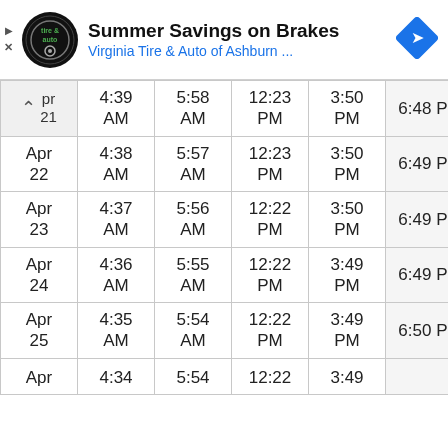[Figure (other): Advertisement banner for Virginia Tire & Auto of Ashburn with logo and navigation icon. Title: Summer Savings on Brakes. Subtitle: Virginia Tire & Auto of Ashburn ...]
| Date | Col2 | Col3 | Col4 | Col5 | Col6 |
| --- | --- | --- | --- | --- | --- |
| Apr 21 | 4:39 AM | 5:58 AM | 12:23 PM | 3:50 PM | 6:48 PM |
| Apr 22 | 4:38 AM | 5:57 AM | 12:23 PM | 3:50 PM | 6:49 PM |
| Apr 23 | 4:37 AM | 5:56 AM | 12:22 PM | 3:50 PM | 6:49 PM |
| Apr 24 | 4:36 AM | 5:55 AM | 12:22 PM | 3:49 PM | 6:49 PM |
| Apr 25 | 4:35 AM | 5:54 AM | 12:22 PM | 3:49 PM | 6:50 PM |
| Apr ... | 4:34 | 5:54 | 12:22 | 3:49 |  |